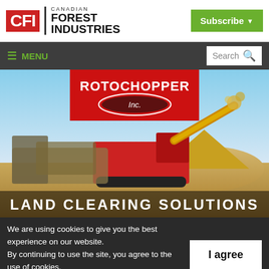Canadian Forest Industries - Subscribe
MENU | Search
[Figure (photo): Rotochopper Inc. industrial wood grinding / land clearing machine in operation outdoors, with chipped wood material being ejected onto a pile. Rotochopper Inc. logo visible at top. Text overlay at bottom reads LAND CLEARING SOLUTIONS.]
We are using cookies to give you the best experience on our website.
By continuing to use the site, you agree to the use of cookies.
To find out more, read our privacy policy.